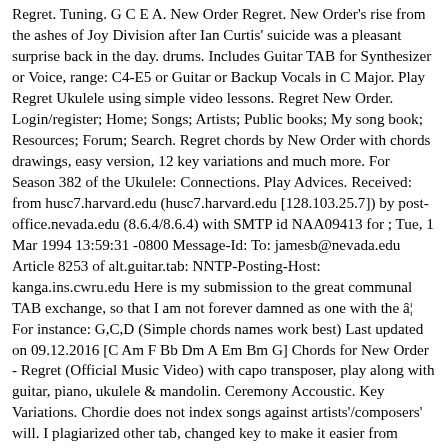Regret. Tuning. G C E A. New Order Regret. New Order's rise from the ashes of Joy Division after Ian Curtis' suicide was a pleasant surprise back in the day. drums. Includes Guitar TAB for Synthesizer or Voice, range: C4-E5 or Guitar or Backup Vocals in C Major. Play Regret Ukulele using simple video lessons. Regret New Order. Login/register; Home; Songs; Artists; Public books; My song book; Resources; Forum; Search. Regret chords by New Order with chords drawings, easy version, 12 key variations and much more. For Season 382 of the Ukulele: Connections. Play Advices. Received: from husc7.harvard.edu (husc7.harvard.edu [128.103.25.7]) by post-office.nevada.edu (8.6.4/8.6.4) with SMTP id NAA09413 for ; Tue, 1 Mar 1994 13:59:31 -0800 Message-Id: To: jamesb@nevada.edu Article 8253 of alt.guitar.tab: NNTP-Posting-Host: kanga.ins.cwru.edu Here is my submission to the great communal TAB exchange, so that I am not forever damned as one with the â¦ For instance: G,C,D (Simple chords names work best) Last updated on 09.12.2016 [C Am F Bb Dm A Em Bm G] Chords for New Order - Regret (Official Music Video) with capo transposer, play along with guitar, piano, ukulele & mandolin. Ceremony Accoustic. Key Variations. Chordie does not index songs against artists'/composers' will. I plagiarized other tab, changed key to make it easier from F/Dm to C/Am. Author Unregistered. Chords and tabs aggregator - Tabstabs.com Hey Now What You Doing by New Order @ Chords, Ukulele chords, Guitar Pro list : â¦ Shop our newest and most popular New Order sheet music such as "Blue Monday", "Strange Things Mellow"